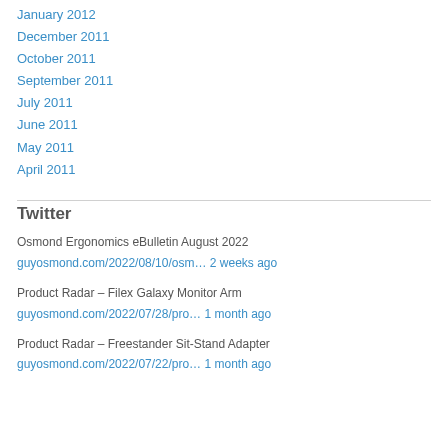January 2012
December 2011
October 2011
September 2011
July 2011
June 2011
May 2011
April 2011
Twitter
Osmond Ergonomics eBulletin August 2022
guyosmond.com/2022/08/10/osm… 2 weeks ago
Product Radar – Filex Galaxy Monitor Arm
guyosmond.com/2022/07/28/pro… 1 month ago
Product Radar – Freestander Sit-Stand Adapter
guyosmond.com/2022/07/22/pro… 1 month ago